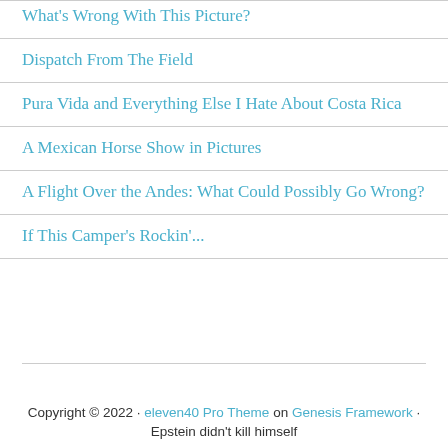What's Wrong With This Picture?
Dispatch From The Field
Pura Vida and Everything Else I Hate About Costa Rica
A Mexican Horse Show in Pictures
A Flight Over the Andes: What Could Possibly Go Wrong?
If This Camper's Rockin'...
Copyright © 2022 · eleven40 Pro Theme on Genesis Framework · Epstein didn't kill himself